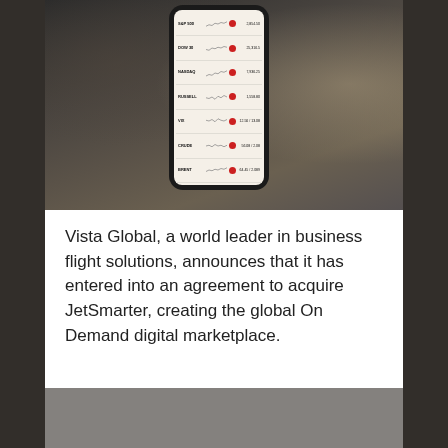[Figure (photo): A hand holding a smartphone displaying a stock/financial app with multiple ticker rows and mini charts, photographed inside a private jet cabin interior with blurred leather seats and windows visible in the background.]
Vista Global, a world leader in business flight solutions, announces that it has entered into an agreement to acquire JetSmarter, creating the global On Demand digital marketplace.